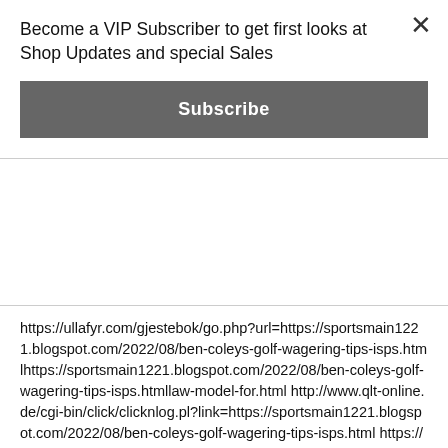Become a VIP Subscriber to get first looks at Shop Updates and special Sales
Subscribe
https://ullafyr.com/gjestebok/go.php?url=https://sportsmain1221.blogspot.com/2022/08/ben-coleys-golf-wagering-tips-isps.htmlhttps://sportsmain1221.blogspot.com/2022/08/ben-coleys-golf-wagering-tips-isps.htmllaw-model-for.html http://www.qlt-online.de/cgi-bin/click/clicknlog.pl?link=https://sportsmain1221.blogspot.com/2022/08/ben-coleys-golf-wagering-tips-isps.html https://www.schwarzburg-tourismus.de/de/page/mod/url/url.php?eid=44&urlpf=https://sportsmain1221.blogspot.com/2022/08/ben-coleys-golf-wagering-tips-isps.html http://slipknot1.info/go.php?url=https://sportsmain1221.blogspot.com/2022/08/ben-coleys-golf-wagering-tips-isps.html https://www.donbosco.it/common/mod_30_conta.asp?